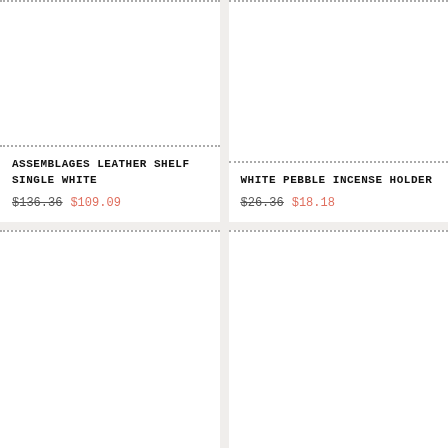[Figure (photo): Product image area for Assemblages Leather Shelf Single White (blank white image placeholder)]
ASSEMBLAGES LEATHER SHELF SINGLE WHITE
$136.36  $109.09
[Figure (photo): Product image area for White Pebble Incense Holder (blank white image placeholder)]
WHITE PEBBLE INCENSE HOLDER
$26.36  $18.18
[Figure (photo): Product image area (bottom left, blank white image placeholder)]
[Figure (photo): Product image area (bottom right, blank white image placeholder)]